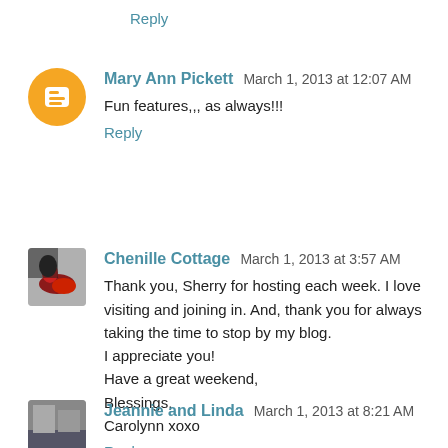Reply
Mary Ann Pickett  March 1, 2013 at 12:07 AM
Fun features,,, as always!!!
Reply
Chenille Cottage  March 1, 2013 at 3:57 AM
Thank you, Sherry for hosting each week. I love visiting and joining in. And, thank you for always taking the time to stop by my blog.
I appreciate you!
Have a great weekend,
Blessings,
Carolynn xoxo
Reply
Jeannie and Linda  March 1, 2013 at 8:21 AM